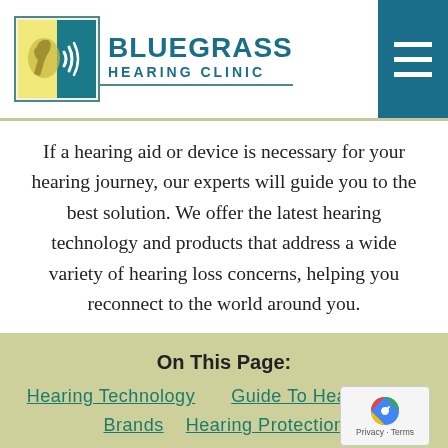[Figure (logo): Bluegrass Hearing Clinic logo with horse head and sound waves icon, teal text reading BLUEGRASS HEARING CLINIC]
If a hearing aid or device is necessary for your hearing journey, our experts will guide you to the best solution. We offer the latest hearing technology and products that address a wide variety of hearing loss concerns, helping you reconnect to the world around you.
On This Page:
Hearing Technology
Guide To Hearing Aids
Brands
Hearing Protection
Assistive Listening Devices